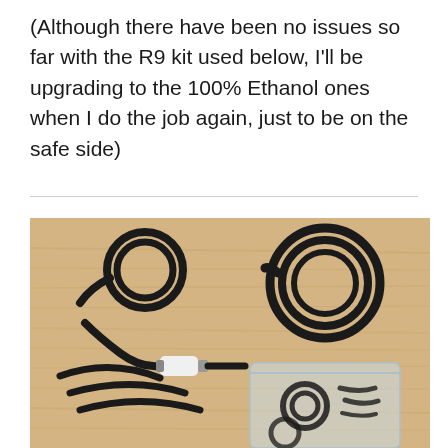(Although there have been no issues so far with the R9 kit used below, I'll be upgrading to the 100% Ethanol ones when I do the job again, just to be on the safe side)
[Figure (photo): Photo of a fuel hose kit on a wooden surface, showing coiled black rubber hoses of different sizes, a fuel filter with white casing and metal fittings, a clear plastic bag containing additional small black hoses and connectors.]